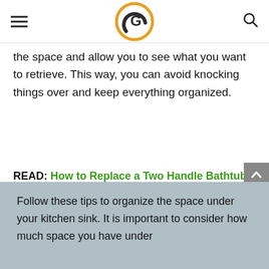G [logo]
the space and allow you to see what you want to retrieve. This way, you can avoid knocking things over and keep everything organized.
READ: How to Replace a Two Handle Bathtub Faucet
Pro Tip: How to organize under a kitchen sink
Follow these tips to organize the space under your kitchen sink. It is important to consider how much space you have under